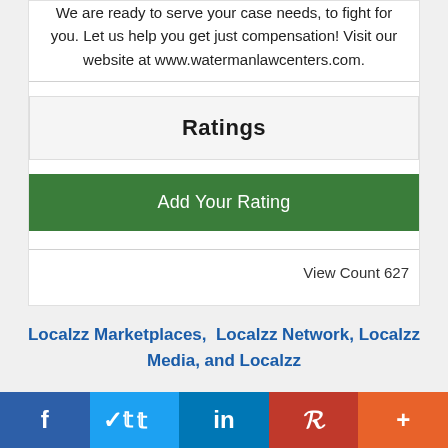We are ready to serve your case needs, to fight for you. Let us help you get just compensation! Visit our website at www.watermanlawcenters.com.
Ratings
Add Your Rating
View Count 627
Localzz Marketplaces,  Localzz Network, Localzz Media, and Localzz
f  Twitter  in  Pinterest  +